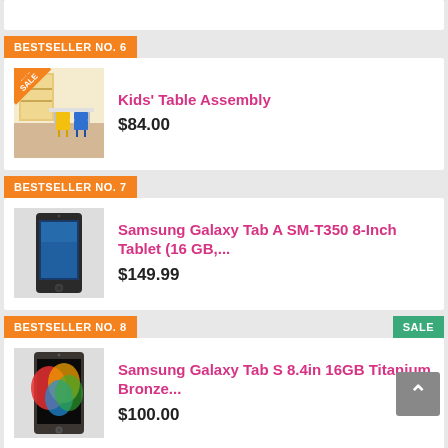BESTSELLER NO. 6
[Figure (photo): Kids table and chairs in a classroom setting with a yellow-orange sale ribbon]
Kids' Table Assembly
$84.00
BESTSELLER NO. 7
[Figure (photo): Samsung Galaxy Tab A SM-T350 8-Inch tablet device]
Samsung Galaxy Tab A SM-T350 8-Inch Tablet (16 GB,...
$149.99
BESTSELLER NO. 8
SALE
[Figure (photo): Samsung Galaxy Tab S 8.4in 16GB Titanium Bronze tablet device]
Samsung Galaxy Tab S 8.4in 16GB Titanium Bronze...
$100.00
BESTSELLER NO. 9
[Figure (photo): 1Pc DIY Slimes Fruit Kit soft stretchy product in pink container]
1Pc DIY Slimes Fruit Kit Soft Stretchy and...
$4.57